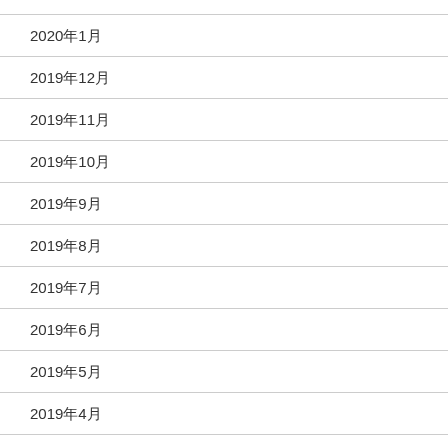2020年1月
2019年12月
2019年11月
2019年10月
2019年9月
2019年8月
2019年7月
2019年6月
2019年5月
2019年4月
2019年3月